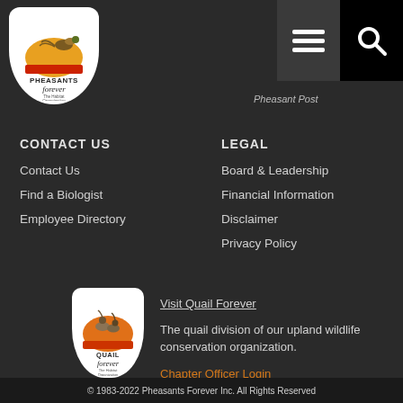[Figure (logo): Pheasants Forever logo - white rounded arch with pheasant bird on orange sun, text 'PHEASANTS forever The Habitat Organization']
Pheasant Post
[Figure (infographic): Hamburger menu icon (three horizontal white lines on dark background)]
[Figure (infographic): Search/magnifying glass icon on black background]
CONTACT US
Contact Us
Find a Biologist
Employee Directory
LEGAL
Board & Leadership
Financial Information
Disclaimer
Privacy Policy
[Figure (logo): Quail Forever logo - white rounded arch with quail birds on orange/red background, text 'QUAIL forever The Habitat Organization']
Visit Quail Forever
The quail division of our upland wildlife conservation organization.
Chapter Officer Login
© 1983-2022 Pheasants Forever Inc. All Rights Reserved